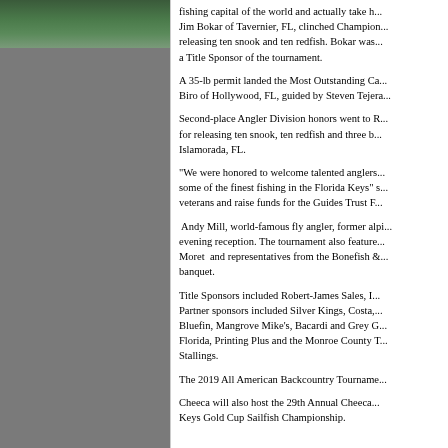[Figure (photo): Outdoor nature/fishing scene photograph, partially visible at top left, with grey background below]
fishing capital of the world and actually take h... Jim Bokar of Tavernier, FL, clinched Champion... releasing ten snook and ten redfish. Bokar was... a Title Sponsor of the tournament.
A 35-lb permit landed the Most Outstanding Ca... Biro of Hollywood, FL, guided by Steven Tejera...
Second-place Angler Division honors went to R... for releasing ten snook, ten redfish and three b... Islamorada, FL.
"We were honored to welcome talented anglers... some of the finest fishing in the Florida Keys" s... veterans and raise funds for the Guides Trust F...
Andy Mill, world-famous fly angler, former alpi... evening reception. The tournament also feature... Moret and representatives from the Bonefish &... banquet.
Title Sponsors included Robert-James Sales, I... Partner sponsors included Silver Kings, Costa,... Bluefin, Mangrove Mike's, Bacardi and Grey G... Florida, Printing Plus and the Monroe County T... Stallings.
The 2019 All American Backcountry Tourname...
Cheeca will also host the 29th Annual Cheeca... Keys Gold Cup Sailfish Championship.